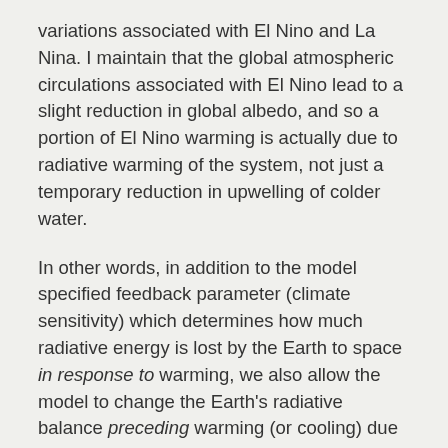variations associated with El Nino and La Nina. I maintain that the global atmospheric circulations associated with El Nino lead to a slight reduction in global albedo, and so a portion of El Nino warming is actually due to radiative warming of the system, not just a temporary reduction in upwelling of colder water.
In other words, in addition to the model specified feedback parameter (climate sensitivity) which determines how much radiative energy is lost by the Earth to space in response to warming, we also allow the model to change the Earth's radiative balance preceding warming (or cooling) due to El Nino (or La Nina). The time lead or lag of this “internal radiative forcing” is adjustable, and the model “decides” the best match to the observations.